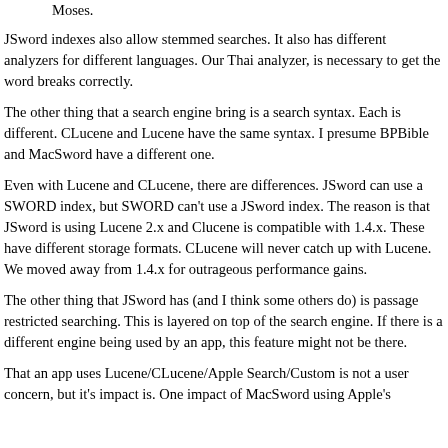Moses.
JSword indexes also allow stemmed searches. It also has different analyzers for different languages. Our Thai analyzer, is necessary to get the word breaks correctly.
The other thing that a search engine bring is a search syntax. Each is different. CLucene and Lucene have the same syntax. I presume BPBible and MacSword have a different one.
Even with Lucene and CLucene, there are differences. JSword can use a SWORD index, but SWORD can't use a JSword index. The reason is that JSword is using Lucene 2.x and Clucene is compatible with 1.4.x. These have different storage formats. CLucene will never catch up with Lucene. We moved away from 1.4.x for outrageous performance gains.
The other thing that JSword has (and I think some others do) is passage restricted searching. This is layered on top of the search engine. If there is a different engine being used by an app, this feature might not be there.
That an app uses Lucene/CLucene/Apple Search/Custom is not a user concern, but it's impact is. One impact of MacSword using Apple's